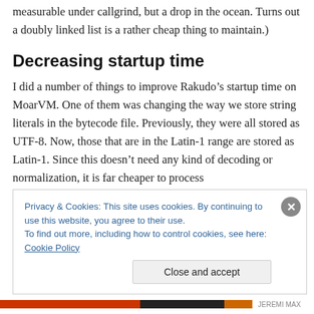measurable under callgrind, but a drop in the ocean. Turns out a doubly linked list is a rather cheap thing to maintain.)
Decreasing startup time
I did a number of things to improve Rakudo’s startup time on MoarVM. One of them was changing the way we store string literals in the bytecode file. Previously, they were all stored as UTF-8. Now, those that are in the Latin-1 range are stored as Latin-1. Since this doesn’t need any kind of decoding or normalization, it is far cheaper to process
Privacy & Cookies: This site uses cookies. By continuing to use this website, you agree to their use.
To find out more, including how to control cookies, see here: Cookie Policy
Close and accept